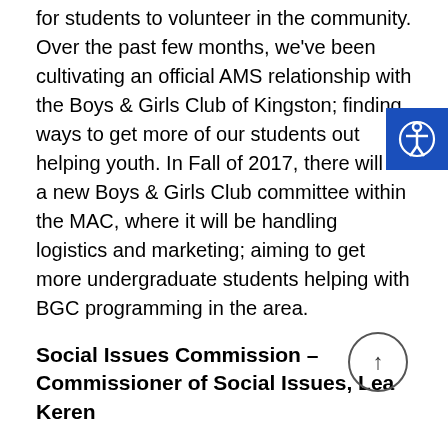for students to volunteer in the community. Over the past few months, we've been cultivating an official AMS relationship with the Boys & Girls Club of Kingston; finding ways to get more of our students out helping youth. In Fall of 2017, there will be a new Boys & Girls Club committee within the MAC, where it will be handling logistics and marketing; aiming to get more undergraduate students helping with BGC programming in the area.
Social Issues Commission – Commissioner of Social Issues, Lea Keren
Sexual Violence Prevention: This year the Social Issues Commission has tried to use an intersectional approach to addressing sexual violence prevention work on campus. The Committees have been encouraged to engage with each other and this issue